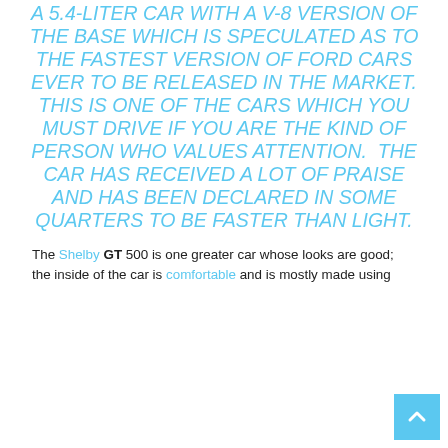A 5.4-LITER CAR WITH A V-8 VERSION OF THE BASE WHICH IS SPECULATED AS TO THE FASTEST VERSION OF FORD CARS EVER TO BE RELEASED IN THE MARKET. THIS IS ONE OF THE CARS WHICH YOU MUST DRIVE IF YOU ARE THE KIND OF PERSON WHO VALUES ATTENTION.  THE CAR HAS RECEIVED A LOT OF PRAISE AND HAS BEEN DECLARED IN SOME QUARTERS TO BE FASTER THAN LIGHT.
The Shelby GT 500 is one greater car whose looks are good; the inside of the car is comfortable and is mostly made using